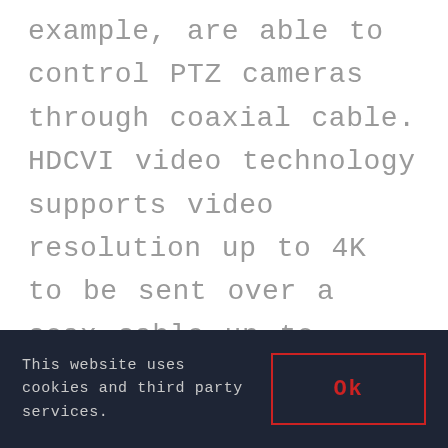example, are able to control PTZ cameras through coaxial cable. HDCVI video technology supports video resolution up to 4K to be sent over a coax cable up to 1600ft. HDCVI is a great choice for installations where there is existing coax cabling in place from older CCTV systems, or where long cable runs are required. IP cameras use network cabling to transmit video as a data signal that
This website uses cookies and third party services.
Ok